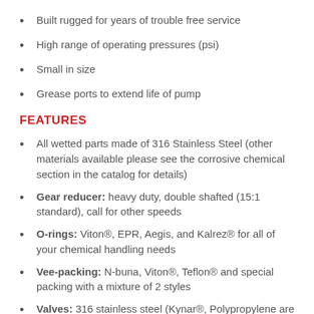Built rugged for years of trouble free service
High range of operating pressures (psi)
Small in size
Grease ports to extend life of pump
FEATURES
All wetted parts made of 316 Stainless Steel (other materials available please see the corrosive chemical section in the catalog for details)
Gear reducer: heavy duty, double shafted (15:1 standard), call for other speeds
O-rings: Viton®, EPR, Aegis, and Kalrez® for all of your chemical handling needs
Vee-packing: N-buna, Viton®, Teflon® and special packing with a mixture of 2 styles
Valves: 316 stainless steel (Kynar®, Polypropylene are available as well)